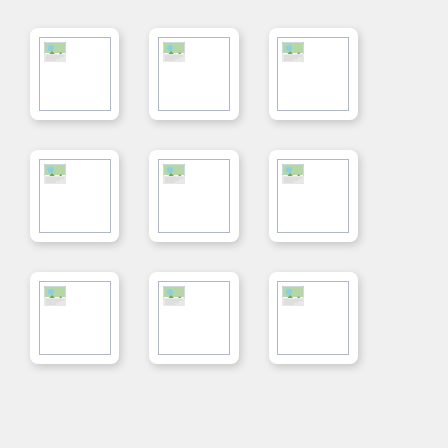[Figure (other): Grid of 9 blank image placeholder cards arranged in 3 rows and 3 columns, each card is a white rounded rectangle with a shadow containing an inner bordered frame and a small image placeholder icon in the top-left corner]
[Figure (other): Blank image placeholder card 2]
[Figure (other): Blank image placeholder card 3]
[Figure (other): Blank image placeholder card 4]
[Figure (other): Blank image placeholder card 5]
[Figure (other): Blank image placeholder card 6]
[Figure (other): Blank image placeholder card 7]
[Figure (other): Blank image placeholder card 8]
[Figure (other): Blank image placeholder card 9]